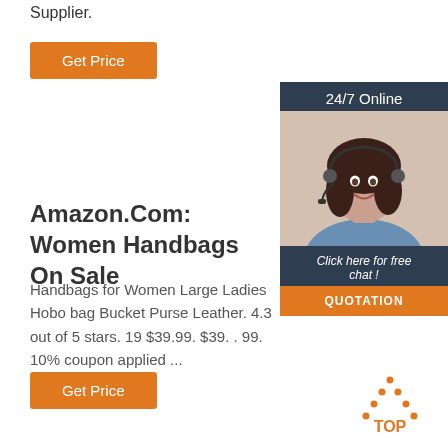Supplier.
Get Price
[Figure (photo): Chat widget with woman wearing headset and '24/7 Online' header, 'Click here for free chat!' text, and QUOTATION button]
Amazon.Com: Women Handbags On Sale
Handbags for Women Large Ladies Hobo bag Bucket Purse Leather. 4.3 out of 5 stars. 19 $39.99. $39. . 99. 10% coupon applied ...
Get Price
[Figure (other): TOP button with dotted triangle/arrow icon in orange]